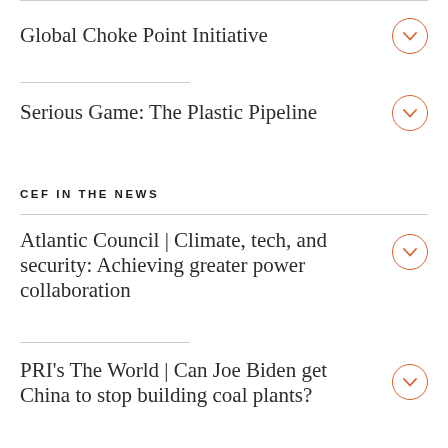Global Choke Point Initiative
Serious Game: The Plastic Pipeline
CEF IN THE NEWS
Atlantic Council | Climate, tech, and security: Achieving greater power collaboration
PRI's The World | Can Joe Biden get China to stop building coal plants?